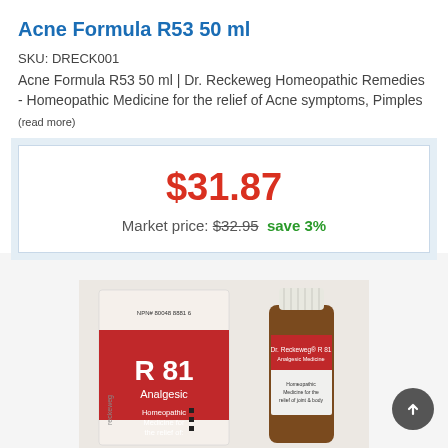Acne Formula R53 50 ml
SKU: DRECK001
Acne Formula R53 50 ml | Dr. Reckeweg Homeopathic Remedies - Homeopathic Medicine for the relief of Acne symptoms, Pimples (read more)
$31.87
Market price: $32.95  save 3%
[Figure (photo): Product photo of Dr. Reckeweg R81 Analgesic Homeopathic Medicine bottle and box]